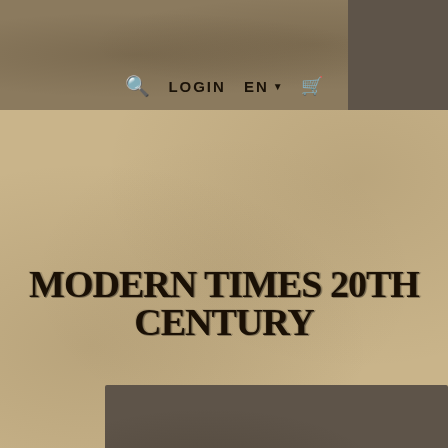🔍 LOGIN  EN ▾  🛒
MODERN TIMES 20TH CENTURY
MODERN WEAPONS